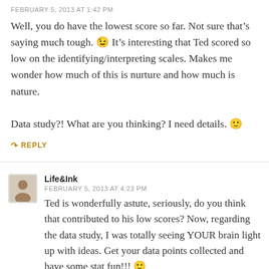FEBRUARY 5, 2013 AT 1:42 PM
Well, you do have the lowest score so far. Not sure that’s saying much tough. 😉 It’s interesting that Ted scored so low on the identifying/interpreting scales. Makes me wonder how much of this is nurture and how much is nature.

Data study?! What are you thinking? I need details. 🙂
⤷ REPLY
Life&Ink
FEBRUARY 5, 2013 AT 4:23 PM
Ted is wonderfully astute, seriously, do you think that contributed to his low scores? Now, regarding the data study, I was totally seeing YOUR brain light up with ideas. Get your data points collected and have some stat fun!!! 🙂